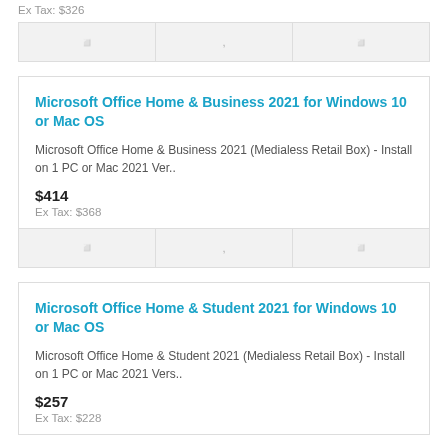Ex Tax: $326
action buttons row
Microsoft Office Home & Business 2021 for Windows 10 or Mac OS
Microsoft Office Home & Business 2021 (Medialess Retail Box) - Install on 1 PC or Mac 2021 Ver..
$414
Ex Tax: $368
action buttons row
Microsoft Office Home & Student 2021 for Windows 10 or Mac OS
Microsoft Office Home & Student 2021 (Medialess Retail Box) - Install on 1 PC or Mac 2021 Vers..
$257
Ex Tax: $228